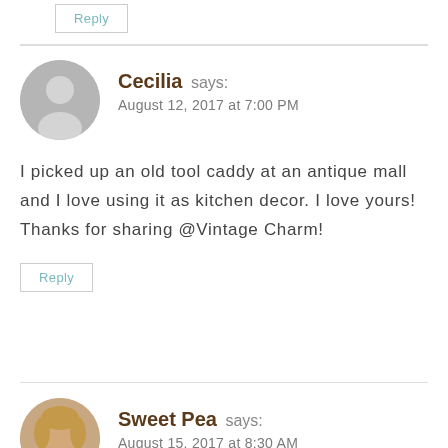[Figure (other): Reply button at top of page]
Cecilia says:
August 12, 2017 at 7:00 PM
I picked up an old tool caddy at an antique mall and I love using it as kitchen decor. I love yours! Thanks for sharing @Vintage Charm!
Reply
Sweet Pea says:
August 15, 2017 at 8:30 AM